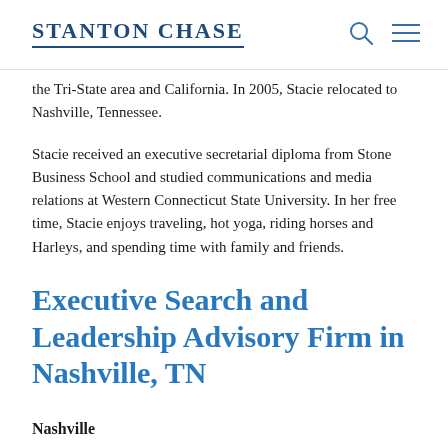Stanton Chase
the Tri-State area and California. In 2005, Stacie relocated to Nashville, Tennessee.
Stacie received an executive secretarial diploma from Stone Business School and studied communications and media relations at Western Connecticut State University. In her free time, Stacie enjoys traveling, hot yoga, riding horses and Harleys, and spending time with family and friends.
Executive Search and Leadership Advisory Firm in Nashville, TN
Nashville